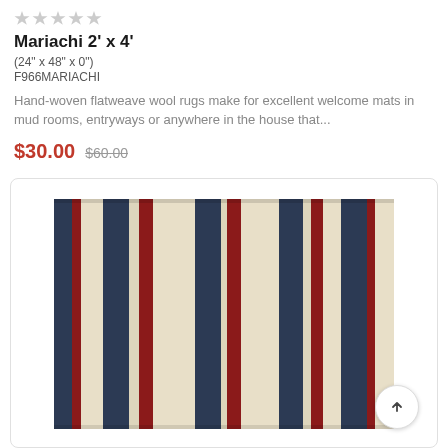[Figure (other): Five grey star rating icons in a row]
Mariachi 2' x 4'
(24" x 48" x 0")
F966MARIACHI
Hand-woven flatweave wool rugs make for excellent welcome mats in mud rooms, entryways or anywhere in the house that...
$30.00  $60.00
[Figure (photo): A striped flatweave wool rug with vertical stripes in navy blue, red, and cream/beige colors, displayed flat on a white background inside a rounded card.]